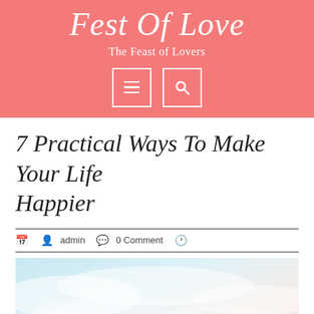Fest Of Love — The Feast of Lovers
7 Practical Ways To Make Your Life Happier
admin   0 Comment
[Figure (photo): A soft, dreamy sky photo with light blue and pink pastel hues, likely an outdoor/nature scenic image used as a featured blog post header.]